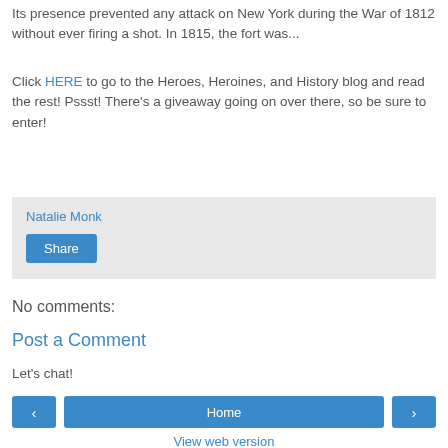Its presence prevented any attack on New York during the War of 1812 without ever firing a shot. In 1815, the fort was...
Click HERE to go to the Heroes, Heroines, and History blog and read the rest! Pssst! There's a giveaway going on over there, so be sure to enter!
Natalie Monk
Share
No comments:
Post a Comment
Let's chat!
‹
Home
›
View web version